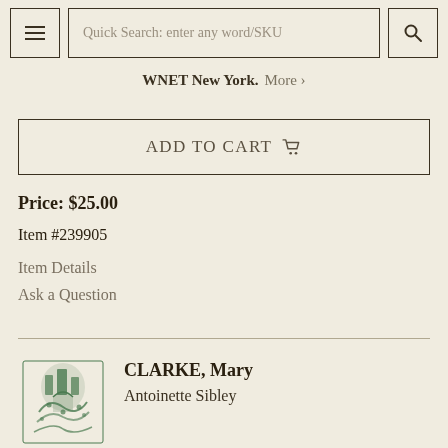Quick Search: enter any word/SKU
WNET New York. More >
ADD TO CART
Price: $25.00
Item #239905
Item Details
Ask a Question
CLARKE, Mary
Antoinette Sibley